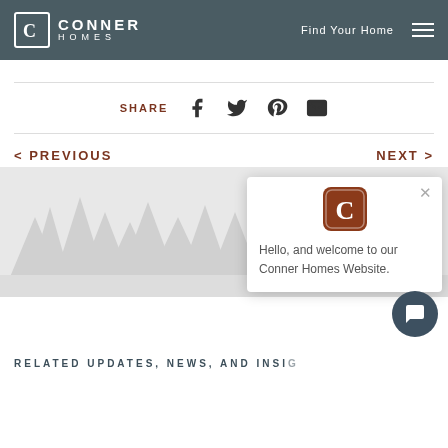CONNER HOMES | Find Your Home
SHARE
< PREVIOUS    NEXT >
[Figure (screenshot): Forest treeline silhouette background image with Conner Homes chat popup overlay showing logo and welcome message: 'Hello, and welcome to our Conner Homes Website.' A chat button (dark circle with speech bubble icon) appears at bottom right.]
RELATED UPDATES, NEWS, AND INSIGHTS